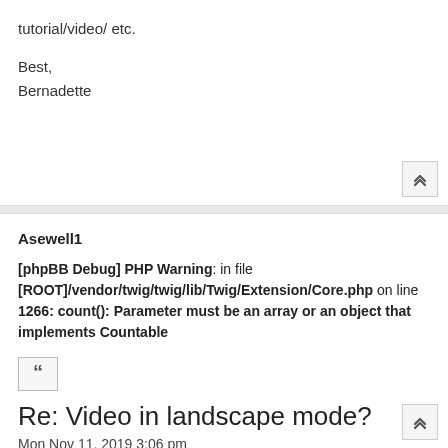tutorial/video/ etc.
Best,
Bernadette
Asewell1
[phpBB Debug] PHP Warning: in file [ROOT]/vendor/twig/twig/lib/Twig/Extension/Core.php on line 1266: count(): Parameter must be an array or an object that implements Countable
Re: Video in landscape mode?
Mon Nov 11, 2019 3:06 pm
I am also experiencing this problem, but only with four out of nine videos. I've resized them, made sure I don't have autoplay checked, changed the X and Y scales... and these four are stubbornly staying the incorrect orientation.